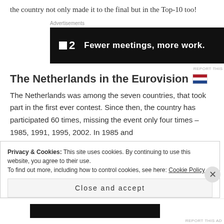the country not only made it to the final but in the Top-10 too!
Advertisements
[Figure (other): Advertisement banner: logo with two squares and '2', tagline 'Fewer meetings, more work.' on black background]
The Netherlands in the Eurovision 🇳🇱
The Netherlands was among the seven countries, that took part in the first ever contest. Since then, the country has participated 60 times, missing the event only four times – 1985, 1991, 1995, 2002. In 1985 and
Privacy & Cookies: This site uses cookies. By continuing to use this website, you agree to their use.
To find out more, including how to control cookies, see here: Cookie Policy
Close and accept